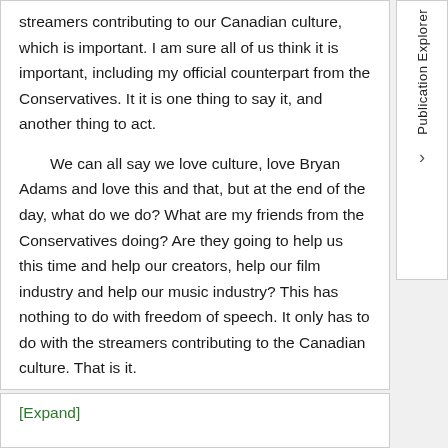streamers contributing to our Canadian culture, which is important. I am sure all of us think it is important, including my official counterpart from the Conservatives. It it is one thing to say it, and another thing to act.

We can all say we love culture, love Bryan Adams and love this and that, but at the end of the day, what do we do? What are my friends from the Conservatives doing? Are they going to help us this time and help our creators, help our film industry and help our music industry? This has nothing to do with freedom of speech. It only has to do with the streamers contributing to the Canadian culture. That is it.
[Expand]